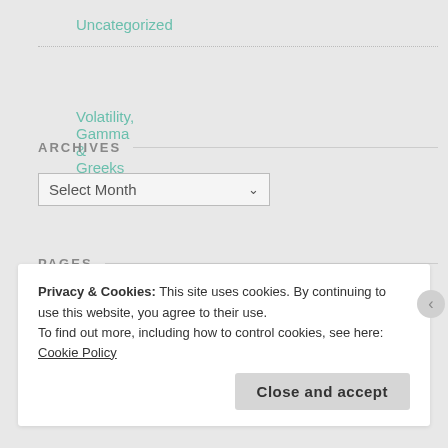Uncategorized
Volatility, Gamma & Greeks
ARCHIVES
Select Month
PAGES
About AsianMacro
Privacy & Cookies: This site uses cookies. By continuing to use this website, you agree to their use.
To find out more, including how to control cookies, see here: Cookie Policy
Close and accept